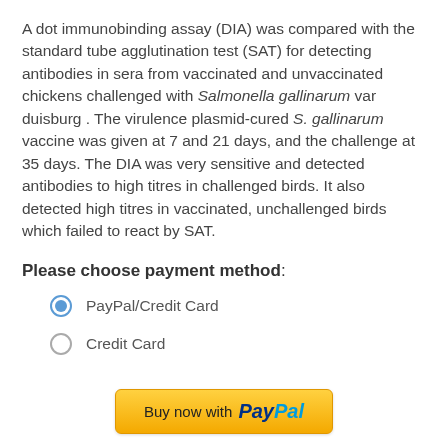A dot immunobinding assay (DIA) was compared with the standard tube agglutination test (SAT) for detecting antibodies in sera from vaccinated and unvaccinated chickens challenged with Salmonella gallinarum var duisburg . The virulence plasmid-cured S. gallinarum vaccine was given at 7 and 21 days, and the challenge at 35 days. The DIA was very sensitive and detected antibodies to high titres in challenged birds. It also detected high titres in vaccinated, unchallenged birds which failed to react by SAT.
Please choose payment method:
PayPal/Credit Card
Credit Card
[Figure (other): Buy now with PayPal button - yellow/gold rounded rectangle button with text 'Buy now with PayPal']